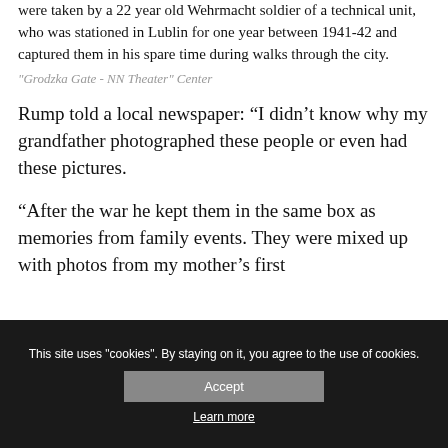were taken by a 22 year old Wehrmacht soldier of a technical unit, who was stationed in Lublin for one year between 1941-42 and captured them in his spare time during walks through the city.
"Grodzka Gate - NN Theater" Center
Rump told a local newspaper: “I didn’t know why my grandfather photographed these people or even had these pictures.
“After the war he kept them in the same box as memories from family events. They were mixed up with photos from my mother’s first
This site uses "cookies". By staying on it, you agree to the use of cookies.
Accept
Learn more